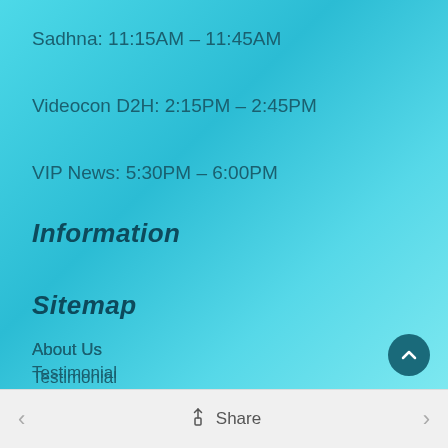Sadhna: 11:15AM – 11:45AM
Videocon D2H: 2:15PM – 2:45PM
VIP News: 5:30PM – 6:00PM
Information
Sitemap
About Us
Testimonial
Review
Contact Us
< Share >